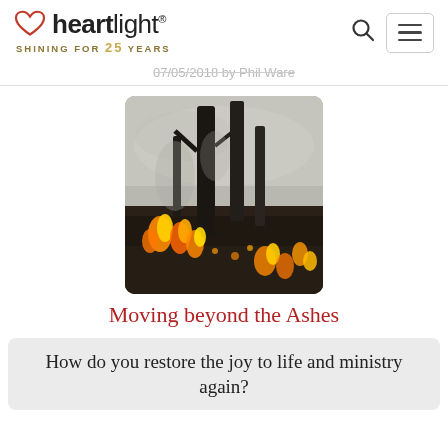heartlight — SHINING FOR 25 YEARS
07/05/2018 by Phil Ware
[Figure (photo): Forest fire scene showing flames burning along the ground with charred tree trunks and smoky hazy sky in background]
Moving beyond the Ashes
How do you restore the joy to life and ministry again?